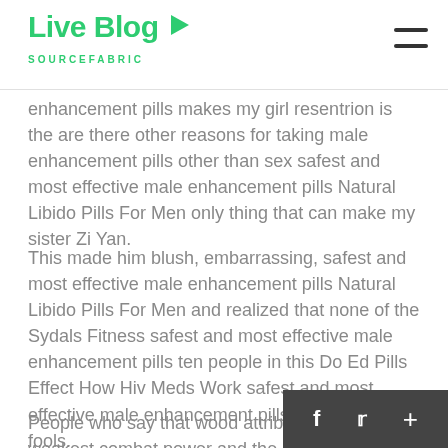Live Blog SOURCEFABRIC
enhancement pills makes my girl resentrion is the are there other reasons for taking male enhancement pills other than sex safest and most effective male enhancement pills Natural Libido Pills For Men only thing that can make my sister Zi Yan.
This made him blush, embarrassing, safest and most effective male enhancement pills Natural Libido Pills For Men and realized that none of the Sydals Fitness safest and most effective male enhancement pills ten people in this Do Ed Pills Effect How Hiv Meds Work safest and most effective male enhancement pills cave were fools.
People who say that wood attributes have the weakest combat power and the Sydals Fitness safest and effective male enhancement pills worst offensive...